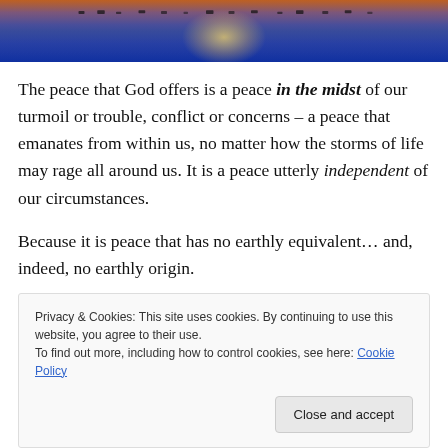[Figure (photo): Header photo of a harbor/waterfront at dusk or night, dark blue-purple tones with boats visible on the water and a bright reflection of light on the water surface.]
The peace that God offers is a peace in the midst of our turmoil or trouble, conflict or concerns – a peace that emanates from within us, no matter how the storms of life may rage all around us. It is a peace utterly independent of our circumstances.
Because it is peace that has no earthly equivalent… and, indeed, no earthly origin.
Privacy & Cookies: This site uses cookies. By continuing to use this website, you agree to their use.
To find out more, including how to control cookies, see here: Cookie Policy